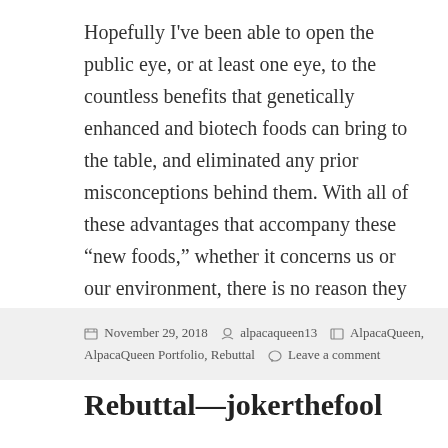Hopefully I've been able to open the public eye, or at least one eye, to the countless benefits that genetically enhanced and biotech foods can bring to the table, and eliminated any prior misconceptions behind them. With all of these advantages that accompany these “new foods,” whether it concerns us or our environment, there is no reason they should be left in the dark any longer.
November 29, 2018  alpacaqueen13  AlpacaQueen, AlpacaQueen Portfolio, Rebuttal  Leave a comment
Rebuttal—jokerthefool